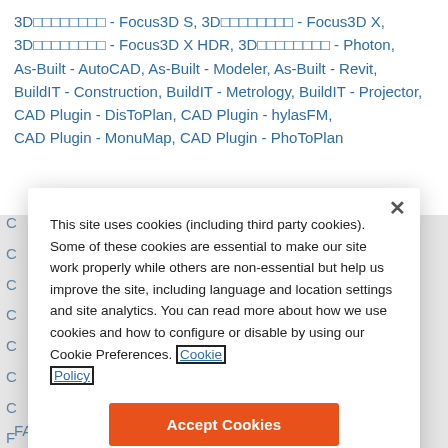3D□□□□□□□□ - Focus3D S, 3D□□□□□□□□ - Focus3D X, 3D□□□□□□□□ - Focus3D X HDR, 3D□□□□□□□□ - Photon, As-Built - AutoCAD, As-Built - Modeler, As-Built - Revit, BuildIT - Construction, BuildIT - Metrology, BuildIT - Projector, CAD Plugin - DisToPlan, CAD Plugin - hylasFM, CAD Plugin - MonuMap, CAD Plugin - PhoToPlan
This site uses cookies (including third party cookies). Some of these cookies are essential to make our site work properly while others are non-essential but help us improve the site, including language and location settings and site analytics. You can read more about how we use cookies and how to configure or disable by using our Cookie Preferences. Cookie Policy
Accept Cookies
Cookies Preferences
FARO Zone 2D - 2020, FARO Zone 2D - 2021,